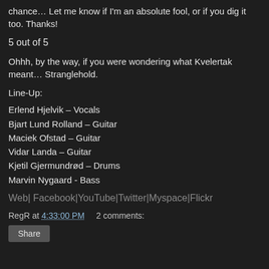chance… Let me know if I'm an absolute fool, or if you dig it too. Thanks!
5 out of 5
Ohhh, by the way, if you were wondering what Kvelertak meant… Stranglehold.
Line-Up:
Erlend Hjelvik – Vocals
Bjart Lund Rolland – Guitar
Maciek Ofstad – Guitar
Vidar Landa – Guitar
Kjetil Gjermundrød – Drums
Marvin Nygaard - Bass
Web| Facebook|YouTube|Twitter|Myspace|Flickr
RegR at 4:33:00 PM    2 comments:
Share